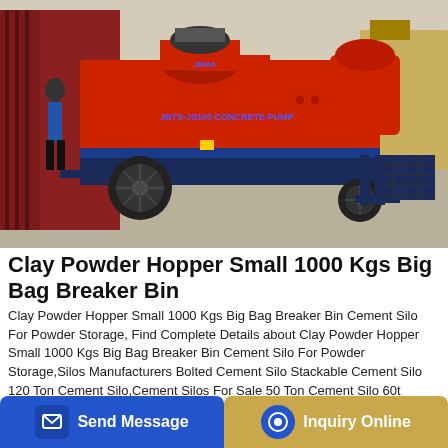[Figure (photo): Red concrete pump machine (JBTS-JS160 Concrete Pump) on wheels being loaded/unloaded from a shipping container outdoors]
Clay Powder Hopper Small 1000 Kgs Big Bag Breaker Bin
Clay Powder Hopper Small 1000 Kgs Big Bag Breaker Bin Cement Silo For Powder Storage, Find Complete Details about Clay Powder Hopper Small 1000 Kgs Big Bag Breaker Bin Cement Silo For Powder Storage,Silos Manufacturers Bolted Cement Silo Stackable Cement Silo 120 Ton Cement Silo,Cement Silos For Sale 50 Ton Cement Silo 60t Cement Silo,Cement Silos For Sale 50 Ton Cement Silo 60t Cement Bulk C...